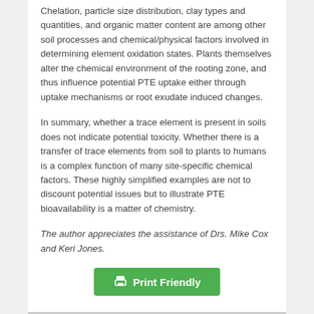Chelation, particle size distribution, clay types and quantities, and organic matter content are among other soil processes and chemical/physical factors involved in determining element oxidation states. Plants themselves alter the chemical environment of the rooting zone, and thus influence potential PTE uptake either through uptake mechanisms or root exudate induced changes.
In summary, whether a trace element is present in soils does not indicate potential toxicity. Whether there is a transfer of trace elements from soil to plants to humans is a complex function of many site-specific chemical factors. These highly simplified examples are not to discount potential issues but to illustrate PTE bioavailability is a matter of chemistry.
The author appreciates the assistance of Drs. Mike Cox and Keri Jones.
[Figure (other): Print Friendly button (green button with printer icon and text 'Print Friendly')]